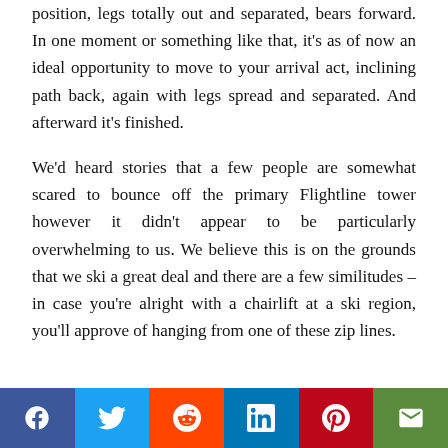position, legs totally out and separated, bears forward. In one moment or something like that, it's as of now an ideal opportunity to move to your arrival act, inclining path back, again with legs spread and separated. And afterward it's finished.
We'd heard stories that a few people are somewhat scared to bounce off the primary Flightline tower however it didn't appear to be particularly overwhelming to us. We believe this is on the grounds that we ski a great deal and there are a few similitudes – in case you're alright with a chairlift at a ski region, you'll approve of hanging from one of these zip lines.
[Figure (infographic): Social media sharing bar with icons for Facebook, Twitter, Reddit, LinkedIn, Pinterest, and Email]